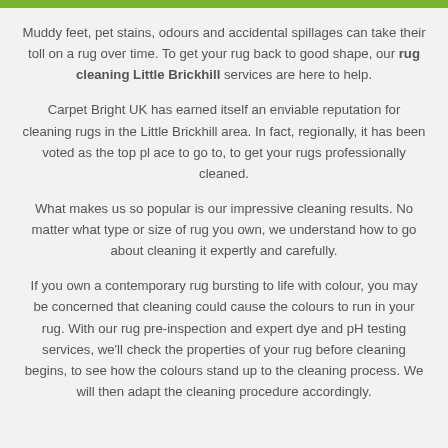Muddy feet, pet stains, odours and accidental spillages can take their toll on a rug over time. To get your rug back to good shape, our rug cleaning Little Brickhill services are here to help.
Carpet Bright UK has earned itself an enviable reputation for cleaning rugs in the Little Brickhill area. In fact, regionally, it has been voted as the top pl ace to go to, to get your rugs professionally cleaned.
What makes us so popular is our impressive cleaning results. No matter what type or size of rug you own, we understand how to go about cleaning it expertly and carefully.
If you own a contemporary rug bursting to life with colour, you may be concerned that cleaning could cause the colours to run in your rug. With our rug pre-inspection and expert dye and pH testing services, we'll check the properties of your rug before cleaning begins, to see how the colours stand up to the cleaning process. We will then adapt the cleaning procedure accordingly.